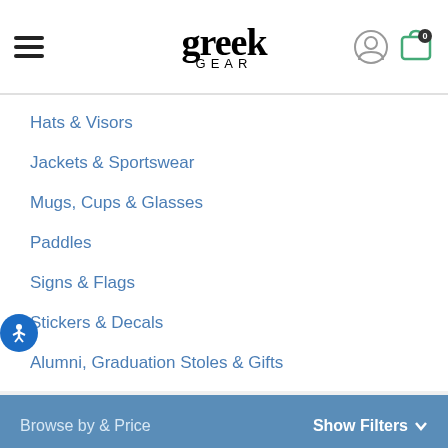greek GEAR - navigation header with hamburger menu, logo, user icon, and cart icon
Hats & Visors
Jackets & Sportswear
Mugs, Cups & Glasses
Paddles
Signs & Flags
Stickers & Decals
Alumni, Graduation Stoles & Gifts
Browse by & Price    Show Filters
[Figure (photo): Photo of a man from shoulders up, wearing a gray t-shirt, with beard, shown against light gray background]